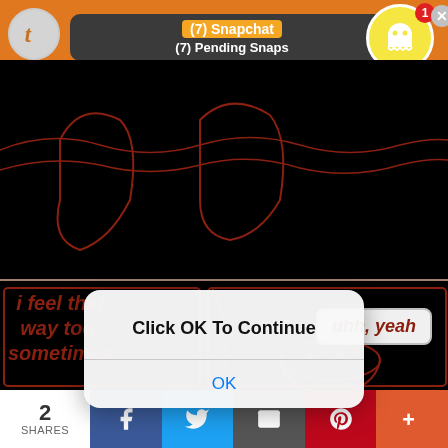[Figure (screenshot): Orange top bar with Tumblr icon, Snapchat push notification showing '(7) Snapchat' and '(7) Pending Snaps', and Snapchat ghost icon with red badge showing '1' and a close X button.]
[Figure (illustration): Comic/sketch drawing background in brown/rust on gray. Speech bubble in top right reads 'uhh, yeah'. Bottom left text reads 'i feel that way too, sometimes'.]
(7) Snapchat
(7) Pending Snaps
uhh, yeah
Click OK To Continue
OK
i feel that way too, sometimes
2 SHARES